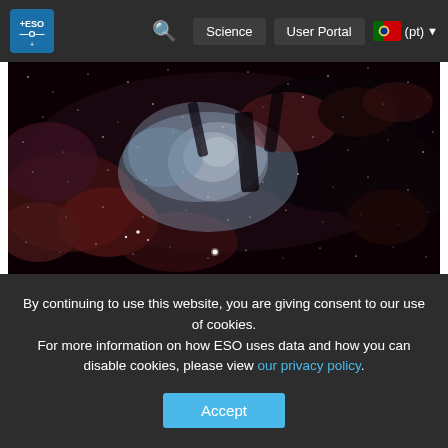ESO | Science | User Portal | (pt)
[Figure (photo): Carina Nebula (NGC 3372) — deep space image showing intricate nebula structures with pink, blue, grey clouds and stars against dark background]
The latest ESO image reveals amazing detail in the intricate structures of one of the largest and brightest nebulae in the sky, the Carina Nebula (NGC 3372), where strong winds and powerful radiation from an armada of massive stars are creating havoc in the large cloud of dust and gas from which the stars were born.
The large and beautiful image displays the full variety of this impressive skyscape, spattered with clusters of young stars, large
By continuing to use this website, you are giving consent to our use of cookies.
For more information on how ESO uses data and how you can disable cookies, please view our privacy policy.